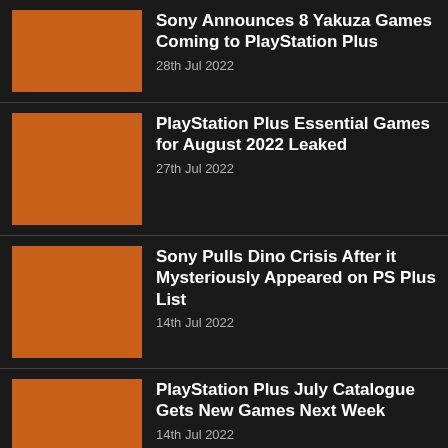Sony Announces 8 Yakuza Games Coming to PlayStation Plus — 28th Jul 2022
PlayStation Plus Essential Games for August 2022 Leaked — 27th Jul 2022
Sony Pulls Dino Crisis After it Mysteriously Appeared on PS Plus List — 14th Jul 2022
PlayStation Plus July Catalogue Gets New Games Next Week — 14th Jul 2022
Rollerdome PlayStation Plus...